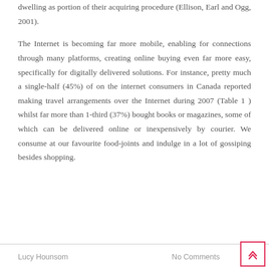dwelling as portion of their acquiring procedure (Ellison, Earl and Ogg, 2001).
The Internet is becoming far more mobile, enabling for connections through many platforms, creating online buying even far more easy, specifically for digitally delivered solutions. For instance, pretty much a single-half (45%) of on the internet consumers in Canada reported making travel arrangements over the Internet during 2007 (Table 1 ) whilst far more than 1-third (37%) bought books or magazines, some of which can be delivered online or inexpensively by courier. We consume at our favourite food-joints and indulge in a lot of gossiping besides shopping.
Lucy Hounsom    No Comments